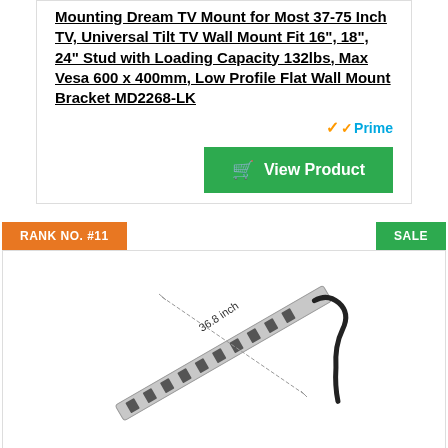Mounting Dream TV Mount for Most 37-75 Inch TV, Universal Tilt TV Wall Mount Fit 16", 18", 24" Stud with Loading Capacity 132lbs, Max Vesa 600 x 400mm, Low Profile Flat Wall Mount Bracket MD2268-LK
Prime
View Product
RANK NO. #11
SALE
[Figure (photo): Power strip surge protector with 36.8 inch measurement annotation shown, elongated metal bar with multiple outlets and black power cord]
Power Strip Surge Protector Power Socket